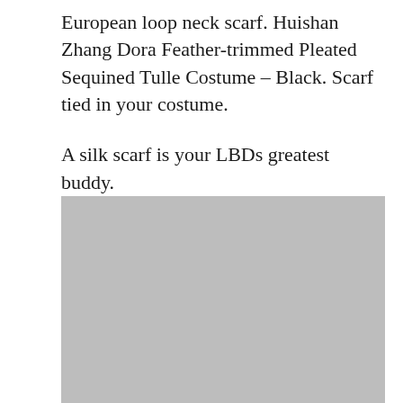European loop neck scarf. Huishan Zhang Dora Feather-trimmed Pleated Sequined Tulle Costume – Black. Scarf tied in your costume.
A silk scarf is your LBDs greatest buddy.
[Figure (photo): A large gray placeholder image block representing a photo.]